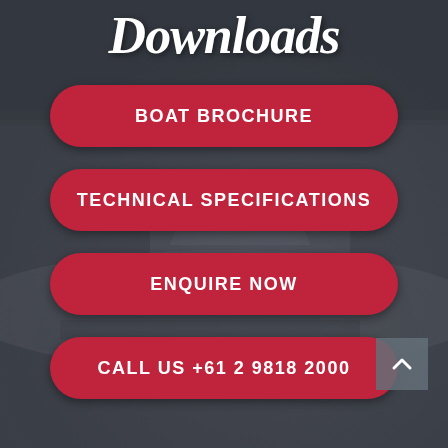Downloads
BOAT BROCHURE
TECHNICAL SPECIFICATIONS
ENQUIRE NOW
CALL US +61 2 9818 2000